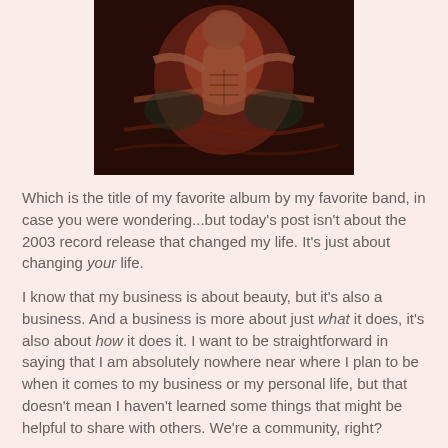[Figure (illustration): Dark, reddish-brown illustrated artwork showing an abstract muscular figure, possibly a demon or warrior, with dramatic painterly style]
Which is the title of my favorite album by my favorite band, in case you were wondering...but today's post isn't about the 2003 record release that changed my life. It's just about changing your life.
I know that my business is about beauty, but it's also a business. And a business is more about just what it does, it's also about how it does it. I want to be straightforward in saying that I am absolutely nowhere near where I plan to be when it comes to my business or my personal life, but that doesn't mean I haven't learned some things that might be helpful to share with others. We're a community, right?
I've recently had so many friends, family, and clients (who have been with me since the beginning!) compliment me on